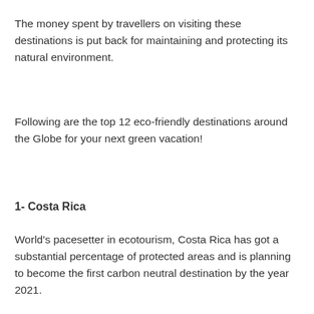The money spent by travellers on visiting these destinations is put back for maintaining and protecting its natural environment.
Following are the top 12 eco-friendly destinations around the Globe for your next green vacation!
1- Costa Rica
World's pacesetter in ecotourism, Costa Rica has got a substantial percentage of protected areas and is planning to become the first carbon neutral destination by the year 2021.